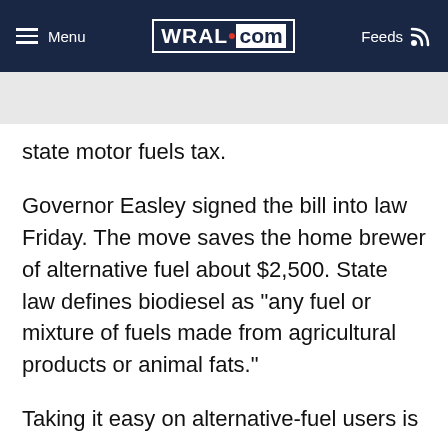Menu | WRAL.com | Feeds
state motor fuels tax.
Governor Easley signed the bill into law Friday. The move saves the home brewer of alternative fuel about $2,500. State law defines biodiesel as "any fuel or mixture of fuels made from agricultural products or animal fats."
Taking it easy on alternative-fuel users is